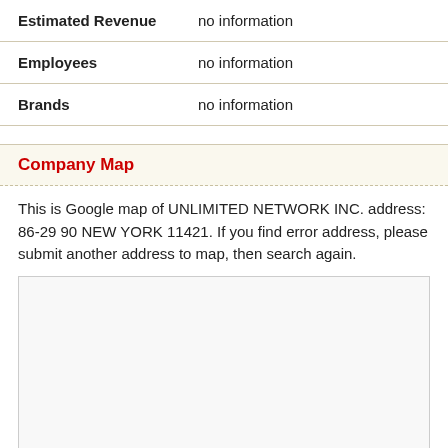| Field | Value |
| --- | --- |
| Estimated Revenue | no information |
| Employees | no information |
| Brands | no information |
Company Map
This is Google map of UNLIMITED NETWORK INC. address: 86-29 90 NEW YORK 11421. If you find error address, please submit another address to map, then search again.
[Figure (map): Google map placeholder for UNLIMITED NETWORK INC. at 86-29 90 NEW YORK 11421]